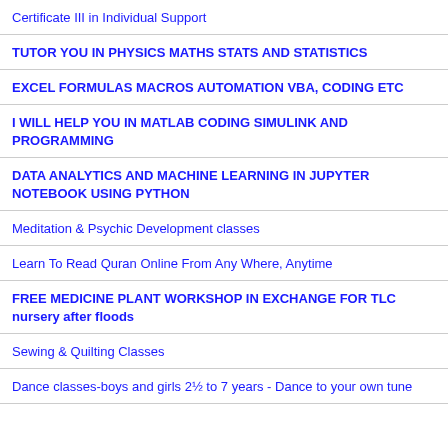Certificate III in Individual Support
TUTOR YOU IN PHYSICS MATHS STATS AND STATISTICS
EXCEL FORMULAS MACROS AUTOMATION VBA, CODING ETC
I WILL HELP YOU IN MATLAB CODING SIMULINK AND PROGRAMMING
DATA ANALYTICS AND MACHINE LEARNING IN JUPYTER NOTEBOOK USING PYTHON
Meditation & Psychic Development classes
Learn To Read Quran Online From Any Where, Anytime
FREE MEDICINE PLANT WORKSHOP IN EXCHANGE FOR TLC nursery after floods
Sewing & Quilting Classes
Dance classes-boys and girls 2½ to 7 years - Dance to your own tune